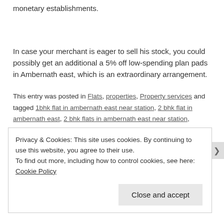monetary establishments.
In case your merchant is eager to sell his stock, you could possibly get an additional a 5% off low-spending plan pads in Ambernath east, which is an extraordinary arrangement.
This entry was posted in Flats, properties, Property services and tagged 1bhk flat in ambernath east near station, 2 bhk flat in ambernath east, 2 bhk flats in ambernath east near station,
Privacy & Cookies: This site uses cookies. By continuing to use this website, you agree to their use.
To find out more, including how to control cookies, see here: Cookie Policy
Close and accept